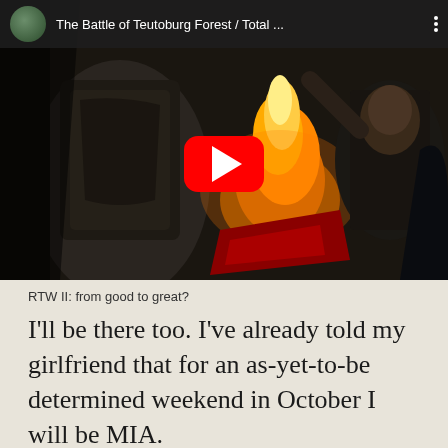[Figure (screenshot): YouTube video thumbnail showing a video game battle scene (Total War) with the title 'The Battle of Teutoburg Forest / Total ...' and a red YouTube play button overlay. The scene shows armored soldiers fighting with fire in the background.]
RTW II: from good to great?
I'll be there too. I've already told my girlfriend that for an as-yet-to-be determined weekend in October I will be MIA.
I hope to see some of you readers and writers